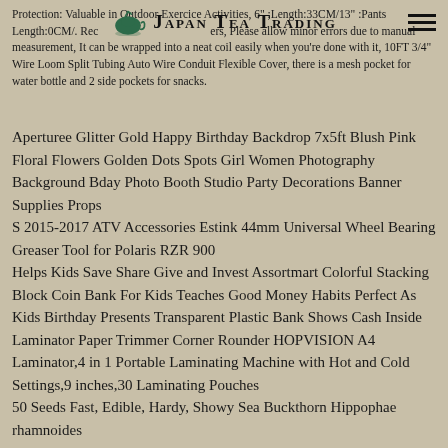Protection: Valuable in Outdoor Exercice Activities, 6" :Length:33CM/13" :Pants Length:0CM/. Rec... allow minor errors due to manual measurement, It can be wrapped into a neat coil easily when you're done with it, 10FT 3/4" Wire Loom Split Tubing Auto Wire Conduit Flexible Cover, there is a mesh pocket for water bottle and 2 side pockets for snacks.
Aperturee Glitter Gold Happy Birthday Backdrop 7x5ft Blush Pink Floral Flowers Golden Dots Spots Girl Women Photography Background Bday Photo Booth Studio Party Decorations Banner Supplies Props
S 2015-2017 ATV Accessories Estink 44mm Universal Wheel Bearing Greaser Tool for Polaris RZR 900
Helps Kids Save Share Give and Invest Assortmart Colorful Stacking Block Coin Bank For Kids Teaches Good Money Habits Perfect As Kids Birthday Presents Transparent Plastic Bank Shows Cash Inside
Laminator Paper Trimmer Corner Rounder HOPVISION A4 Laminator,4 in 1 Portable Laminating Machine with Hot and Cold Settings,9 inches,30 Laminating Pouches
50 Seeds Fast, Edible, Hardy, Showy Sea Buckthorn Hippophae rhamnoides
Wiper 10 Rear Wiper Blade for Mazda CX-3 CX3 2015 2016 2017 2018 2019 2020 Windshield Windscreen Rear Window